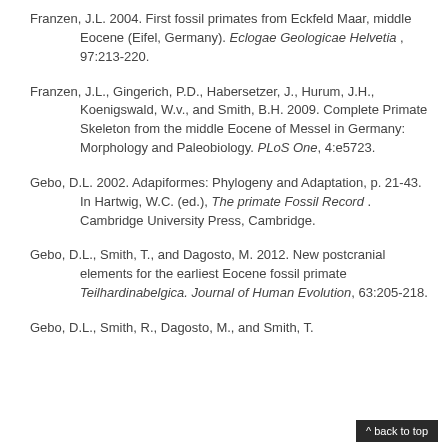Franzen, J.L. 2004. First fossil primates from Eckfeld Maar, middle Eocene (Eifel, Germany). Eclogae Geologicae Helvetia , 97:213-220.
Franzen, J.L., Gingerich, P.D., Habersetzer, J., Hurum, J.H., Koenigswald, W.v., and Smith, B.H. 2009. Complete Primate Skeleton from the middle Eocene of Messel in Germany: Morphology and Paleobiology. PLoS One, 4:e5723.
Gebo, D.L. 2002. Adapiformes: Phylogeny and Adaptation, p. 21-43. In Hartwig, W.C. (ed.), The primate Fossil Record . Cambridge University Press, Cambridge.
Gebo, D.L., Smith, T., and Dagosto, M. 2012. New postcranial elements for the earliest Eocene fossil primate Teilhardinabelgica. Journal of Human Evolution, 63:205-218.
Gebo, D.L., Smith, R., Dagosto, M., and Smith, T.
^ back to top